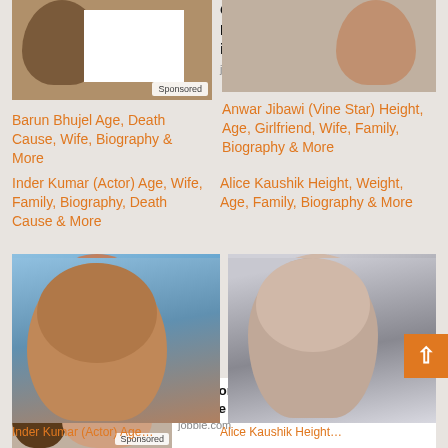[Figure (photo): Photo of a dark-skinned man, partially obscured by white rectangle, with Sponsored badge]
[Figure (photo): Photo of Anwar Jibawi, a man with light skin]
Barun Bhujel Age, Death Cause, Wife, Biography & More
Anwar Jibawi (Vine Star) Height, Age, Girlfriend, Wife, Family, Biography & More
[Figure (photo): Ad: OneMain Financial Banker/Loan Officer Jobs in... jobble.com]
[Figure (photo): Photo of Inder Kumar, a male actor in blue t-shirt]
[Figure (photo): Photo of Alice Kaushik, a young woman with long dark hair]
Inder Kumar (Actor) Age, Wife, Family, Biography, Death Cause & More
Alice Kaushik Height, Weight, Age, Family, Biography & More
[Figure (photo): Ad: thomson reuters Customer Service Analyst Jobs in... jobble.com, sponsored photo of woman on phone]